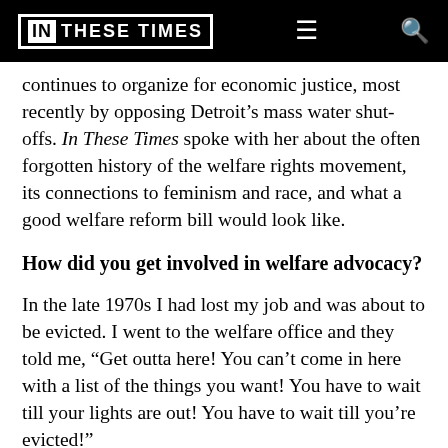IN THESE TIMES
continues to organize for economic justice, most recently by opposing Detroit’s mass water shut-offs. In These Times spoke with her about the often forgotten history of the welfare rights movement, its connections to feminism and race, and what a good welfare reform bill would look like.
How did you get involved in welfare advocacy?
In the late 1970s I had lost my job and was about to be evicted. I went to the welfare office and they told me, “Get outta here! You can’t come in here with a list of the things you want! You have to wait till your lights are out! You have to wait till you’re evicted!”